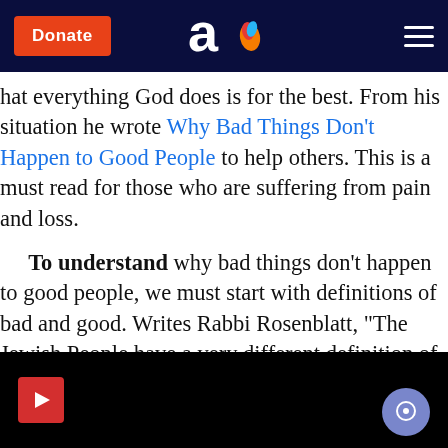Aish.com navigation bar with Donate button, logo, and hamburger menu
hat everything God does is for the best. From his situation he wrote Why Bad Things Don't Happen to Good People to help others. This is a must read for those who are suffering from pain and loss.
To understand why bad things don't happen to good people, we must start with definitions of bad and good. Writes Rabbi Rosenblatt, "The Jewish People have a very different definition of bad - and based on this definition, nothing bad ever really 'happens' in this world. The easiest way to define 'bad' is by first defining 'good'.
[Figure (screenshot): Black video player footer bar with red play button on left and blue chat bubble button on right]